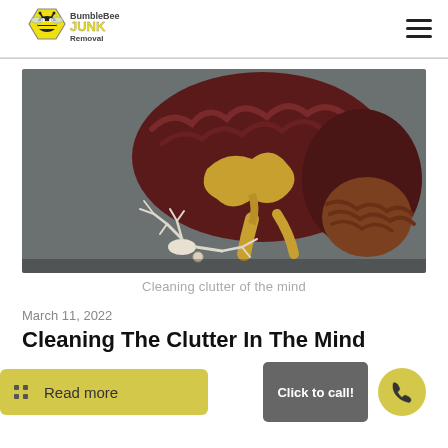BumbleBee Junk Removal
[Figure (photo): A cross-section anatomical model of a human brain showing internal structures in dark red and gold/yellow tones, with a white neuron model in the foreground, placed on a dark gray surface.]
Cleaning clutter of the mind
March 11, 2022
Cleaning The Clutter In The Mind
Read more
Click to call!